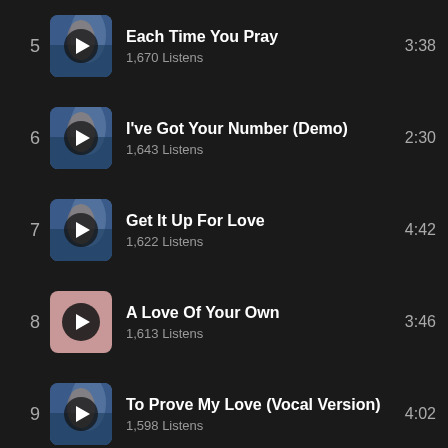5 Each Time You Pray 1,670 Listens 3:38
6 I've Got Your Number (Demo) 1,643 Listens 2:30
7 Get It Up For Love 1,622 Listens 4:42
8 A Love Of Your Own 1,613 Listens 3:46
9 To Prove My Love (Vocal Version) 1,598 Listens 4:02
10 Between Two Worlds 4:11